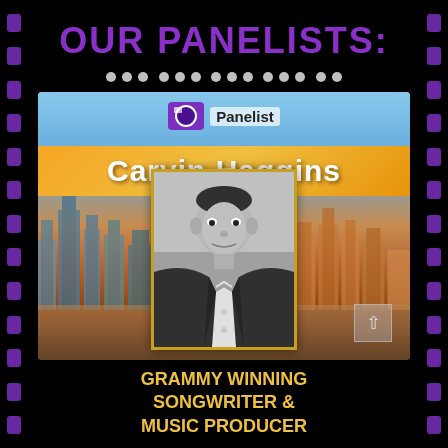OUR PANELISTS:
[Figure (photo): Panelist card for Carvin Haggins showing his photo against a city skyline background with name banner and event logo]
Grammy Winning Songwriter & Music Producer